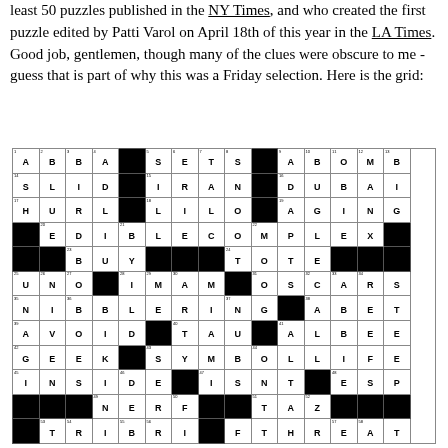least 50 puzzles published in the NY Times, and who created the first puzzle edited by Patti Varol on April 18th of this year in the LA Times. Good job, gentlemen, though many of the clues were obscure to me - guess that is part of why this was a Friday selection. Here is the grid:
[Figure (other): Crossword puzzle grid with filled-in answers including ABBA, SETS, ABOMB, SLID, IRAN, DUBAI, HURL, LILO, AGING, EDIBLECOMPLEX, BUY, TOTE, UNO, IMAM, OSCARS, NIBBLERING, ABET, AVOID, TAU, ALBEE, GEEK, SYMBOLLIFE, INSIDE, ISNT, ESP, NERF, TAZ, TRIBRI, FTHRE, AT]